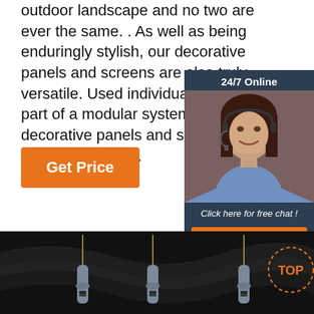outdoor landscape and no two are ever the same. . As well as being enduringly stylish, our decorative panels and screens are also truly versatile. Used individually or as part of a modular system, our decorative panels and screens make a striking ...
[Figure (other): Customer service chat widget showing a woman with a headset, '24/7 Online' header, 'Click here for free chat!' text, and an orange QUOTATION button]
Get Price
[Figure (photo): Dark background product photo showing multiple precision needle/probe tools with gray handles arranged vertically, with a circular 'TOP' badge logo in the bottom right]